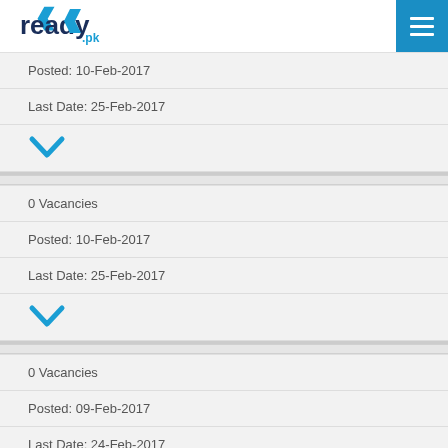ready.pk
Posted: 10-Feb-2017
Last Date: 25-Feb-2017
0 Vacancies
Posted: 10-Feb-2017
Last Date: 25-Feb-2017
0 Vacancies
Posted: 09-Feb-2017
Last Date: 24-Feb-2017